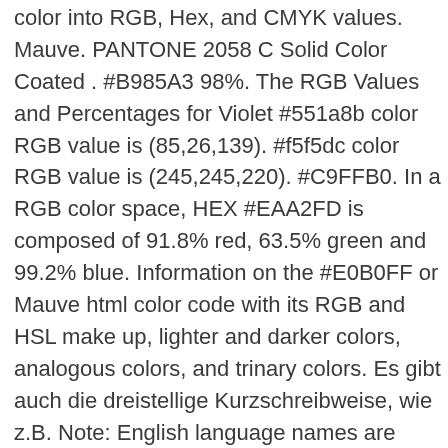color into RGB, Hex, and CMYK values. Mauve. PANTONE 2058 C Solid Color Coated . #B985A3 98%. The RGB Values and Percentages for Violet #551a8b color RGB value is (85,26,139). #f5f5dc color RGB value is (245,245,220). #C9FFB0. In a RGB color space, HEX #EAA2FD is composed of 91.8% red, 63.5% green and 99.2% blue. Information on the #E0B0FF or Mauve html color code with its RGB and HSL make up, lighter and darker colors, analogous colors, and trinary colors. Es gibt auch die dreistellige Kurzschreibweise, wie z.B. Note: English language names are approximate equivalents of the hexadecimal color codes. Hex code: #e0b0ff: RGB: rgb(224,176,255) HSV: ( 276.46° , 0.31% , 255% ) Colors used in web pages are represented using RGB (red, Green, blue) triplet. In the RGB color model #d473d4 is comprised of 83.14% red, 45.1% green and 83.14% blue. In the HSL color space #eaa2fd has a hue of 287° (degrees), 96% saturation and 81% lightness. The unusual shade of purple revolutionized fashion and proved to be exceptionally popular in the 1890s, which is sometimes referred to as the "Mauve